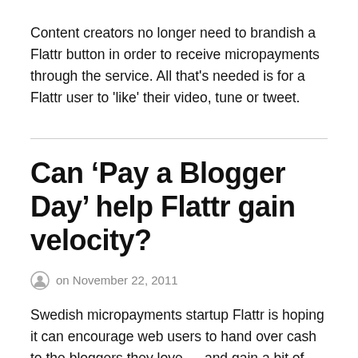Content creators no longer need to brandish a Flattr button in order to receive micropayments through the service. All that's needed is for a Flattr user to 'like' their video, tune or tweet.
Can 'Pay a Blogger Day' help Flattr gain velocity?
on November 22, 2011
Swedish micropayments startup Flattr is hoping it can encourage web users to hand over cash to the bloggers they love — and gain a bit of traction for its own service in the process.